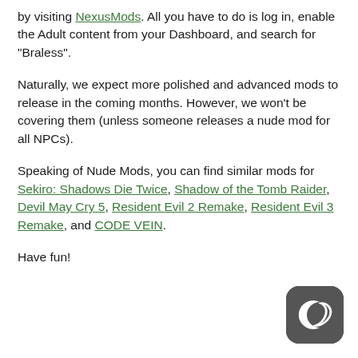by visiting NexusMods. All you have to do is log in, enable the Adult content from your Dashboard, and search for “Braless”.
Naturally, we expect more polished and advanced mods to release in the coming months. However, we won't be covering them (unless someone releases a nude mod for all NPCs).
Speaking of Nude Mods, you can find similar mods for Sekiro: Shadows Die Twice, Shadow of the Tomb Raider, Devil May Cry 5, Resident Evil 2 Remake, Resident Evil 3 Remake, and CODE VEIN.
Have fun!
[Figure (logo): Dark gray rounded square icon with a white crescent moon letter C shape]